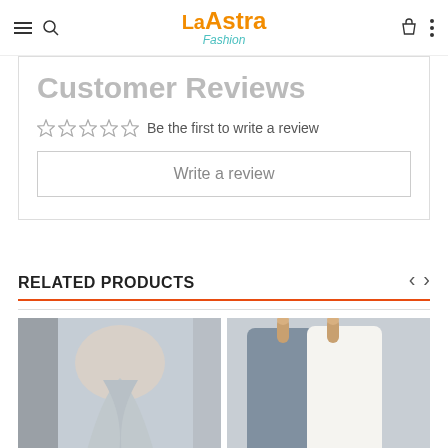[Figure (logo): La Astra Fashion logo with orange text and teal subtitle]
Customer Reviews
Be the first to write a review
Write a review
RELATED PRODUCTS
[Figure (photo): Woman wearing a gray knit backless sweater, view from behind]
[Figure (photo): White and blue knit turtleneck sweaters on wooden hangers]